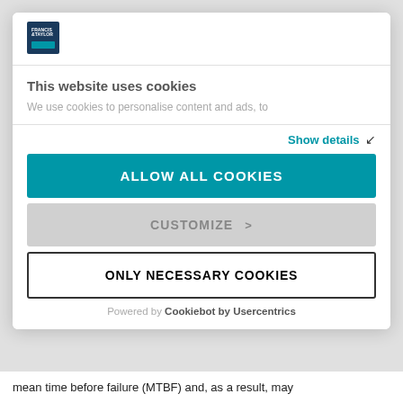[Figure (screenshot): Cookie consent dialog overlay on a publisher website (Taylor & Francis / Routledge). Contains logo, cookie notice title and body text, Show details link, three buttons (Allow All Cookies, Customize, Only Necessary Cookies), and Powered by Cookiebot by Usercentrics footer.]
This website uses cookies
We use cookies to personalise content and ads, to
Show details ›
ALLOW ALL COOKIES
CUSTOMIZE ›
ONLY NECESSARY COOKIES
Powered by Cookiebot by Usercentrics
mean time before failure (MTBF) and, as a result, may